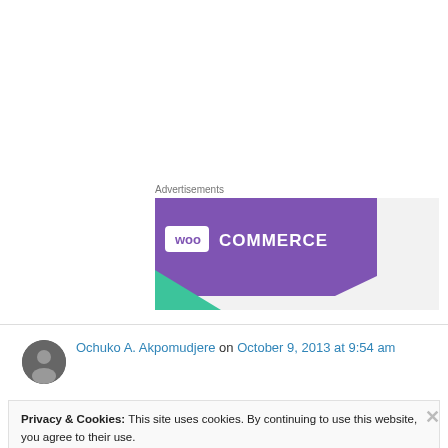Advertisements
[Figure (logo): WooCommerce logo on purple background with teal accent]
Ochuko A. Akpomudjere on October 9, 2013 at 9:54 am
Privacy & Cookies: This site uses cookies. By continuing to use this website, you agree to their use.
To find out more, including how to control cookies, see here: Cookie Policy